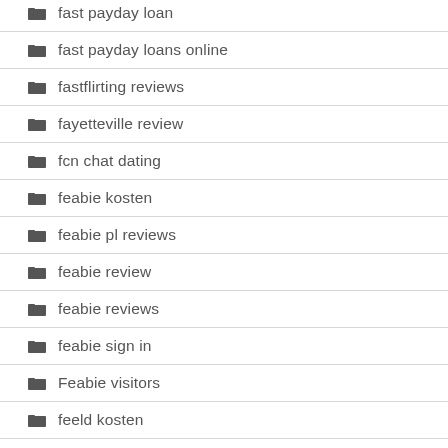fast payday loan
fast payday loans online
fastflirting reviews
fayetteville review
fcn chat dating
feabie kosten
feabie pl reviews
feabie review
feabie reviews
feabie sign in
Feabie visitors
feeld kosten